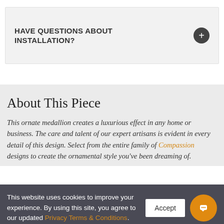HAVE QUESTIONS ABOUT INSTALLATION?
About This Piece
This ornate medallion creates a luxurious effect in any home or business. The care and talent of our expert artisans is evident in every detail of this design. Select from the entire family of Compassion designs to create the ornamental style you've been dreaming of.
This website uses cookies to improve your experience. By using this site, you agree to our updated Privacy Terms & Conditions.